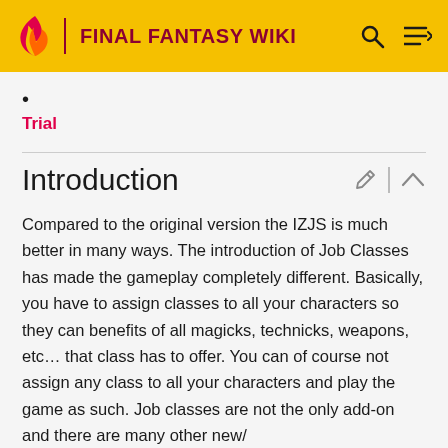FINAL FANTASY WIKI
•
Trial
Introduction
Compared to the original version the IZJS is much better in many ways. The introduction of Job Classes has made the gameplay completely different. Basically, you have to assign classes to all your characters so they can benefits of all magicks, technicks, weapons, etc… that class has to offer. You can of course not assign any class to all your characters and play the game as such. Job classes are not the only add-on and there are many other new/